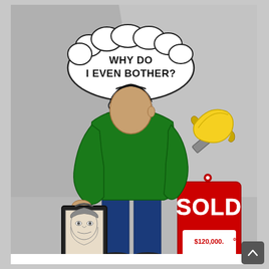[Figure (illustration): Comic/cartoon illustration showing a man from behind wearing a green jacket and blue jeans, carrying a framed portrait artwork in his left hand. He has a thought bubble saying 'WHY DO I EVEN BOTHER?' A banana taped to a wall with duct tape floats in the upper right, and a large red price tag reads 'SOLD $120,000.' The background is grey with a lighter grey diagonal beam of light. The cartoon comments on the modern art world valuing absurd pieces (banana taped to wall) over traditional skilled artwork.]